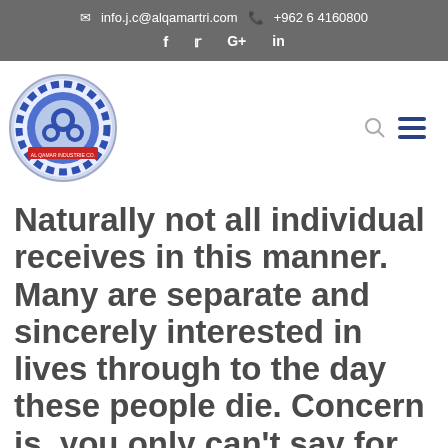info.j.c@alqamartri.com  +962 6 4160800  f  y  G+  in
[Figure (logo): Al Qamar company logo — circular blue gear/cog design with Arabic and English text, on a light blue background]
Naturally not all individual receives in this manner. Many are separate and sincerely interested in lives through to the day these people die. Concern is, you only can't say for sure